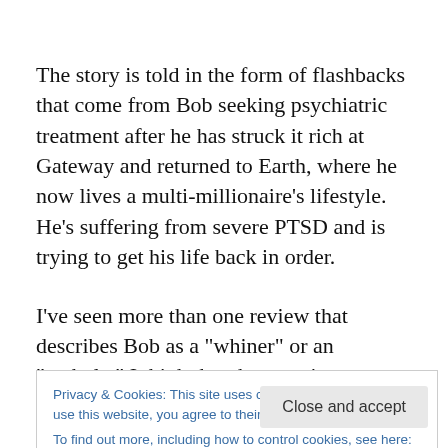The story is told in the form of flashbacks that come from Bob seeking psychiatric treatment after he has struck it rich at Gateway and returned to Earth, where he now lives a multi-millionaire's lifestyle. He's suffering from severe PTSD and is trying to get his life back in order.
I've seen more than one review that describes Bob as a "whiner" or an "asshole." I think that these reviewers don't understand PTSD. Pohl's depiction of the disorder, which I happen to know a great deal about both from research
Privacy & Cookies: This site uses cookies. By continuing to use this website, you agree to their use.
To find out more, including how to control cookies, see here: Cookie Policy
it because they never know when they're going to be